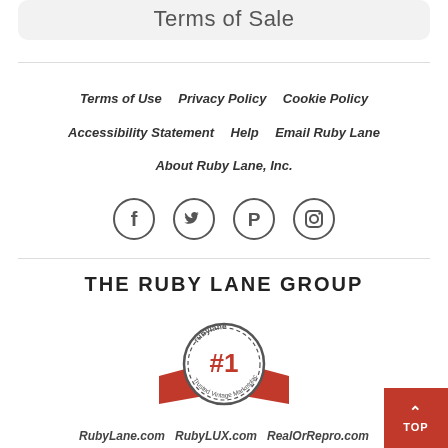Terms of Sale
Terms of Use   Privacy Policy   Cookie Policy   Accessibility Statement   Help   Email Ruby Lane   About Ruby Lane, Inc.
[Figure (illustration): Social media icons in circles: Facebook, Twitter, Pinterest, Instagram]
THE RUBY LANE GROUP
[Figure (logo): Ruby Lane #1 Trusted Vintage Marketplace badge with red ribbon]
RubyLane.com   RubyLUX.com   RealOrRepro.com